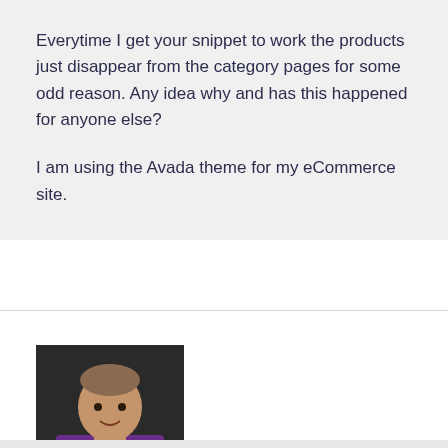Everytime I get your snippet to work the products just disappear from the category pages for some odd reason. Any idea why and has this happened for anyone else?
I am using the Avada theme for my eCommerce site.
[Figure (photo): Profile photo of Rodolfo Melogli wearing a purple shirt with a WooCommerce badge/lanyard]
Rodolfo Melogli
October 22, 2019